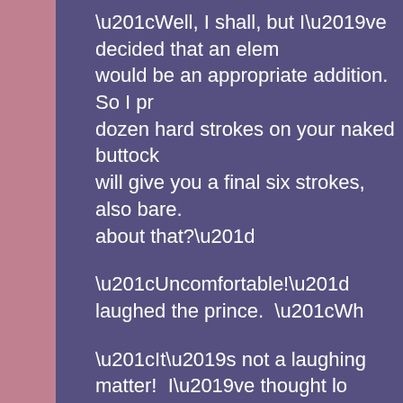“Well, I shall, but I’ve decided that an elem would be an appropriate addition.  So I pr dozen hard strokes on your naked buttock will give you a final six strokes, also bare. about that?”
“Uncomfortable!” laughed the prince.  “Wh
“It’s not a laughing matter!  I’ve thought lo which female to assign this unpleasant du volunteer came forward.  Someone who is remember the halcyon days of corporal pu someone who has been besotted with you been a great royalist.  The lady in questio
Miss Trenchard was well known to the pri the catering at the base, was in her fifties